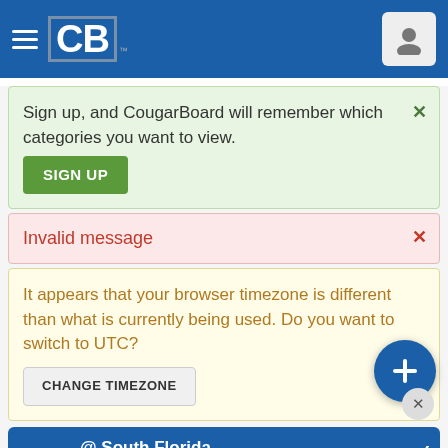CB CougarBoard
Sign up, and CougarBoard will remember which categories you want to view. SIGN UP
Invalid message
It appears that your browser timezone is different than what is currently being used. Do you want to switch to UTC? CHANGE TIMEZONE
@ South Florida Sat, Sep 3, 2:00pm MDT 20 10d 10h 12m